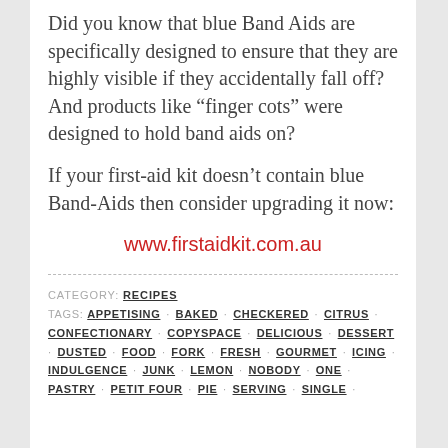Did you know that blue Band Aids are specifically designed to ensure that they are highly visible if they accidentally fall off? And products like “finger cots” were designed to hold band aids on?
If your first-aid kit doesn’t contain blue Band-Aids then consider upgrading it now:
www.firstaidkit.com.au
CATEGORY: RECIPES
TAGS: APPETISING · BAKED · CHECKERED · CITRUS · CONFECTIONARY · COPYSPACE · DELICIOUS · DESSERT · DUSTED · FOOD · FORK · FRESH · GOURMET · ICING · INDULGENCE · JUNK · LEMON · NOBODY · ONE · PASTRY · PETIT FOUR · PIE · SERVING · SINGLE ·